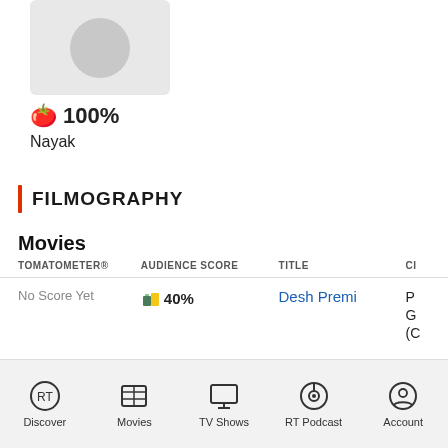[Figure (photo): Movie poster thumbnail placeholder - grey rounded rectangle with circular grey icon]
🍅 100%
Nayak
FILMOGRAPHY
Movies
| TOMATOMETER® | AUDIENCE SCORE | TITLE | CI |
| --- | --- | --- | --- |
| No Score Yet | 40% | Desh Premi | P G (C |
Discover  Movies  TV Shows  RT Podcast  Account